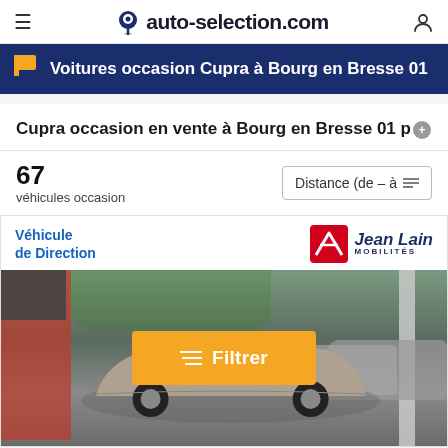auto-selection.com
Voitures occasion Cupra à Bourg en Bresse 01
Cupra occasion en vente à Bourg en Bresse 01 p.
67 véhicules occasion
Distance (de – à)
Véhicule de Direction
[Figure (other): Photo of a Cupra sports car in a dealership showroom/lot, with a Jean Lain Mobilités dealer badge. An orange 'Filtrer' button overlay appears on the image.]